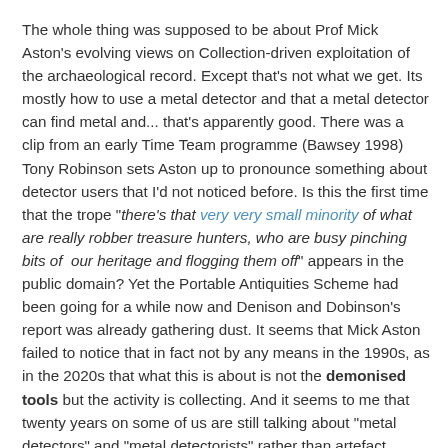The whole thing was supposed to be about Prof Mick Aston's evolving views on Collection-driven exploitation of the archaeological record. Except that's not what we get. Its mostly how to use a metal detector and that a metal detector can find metal and... that's apparently good. There was a clip from an early Time Team programme (Bawsey 1998) Tony Robinson sets Aston up to pronounce something about detector users that I'd not noticed before. Is this the first time that the trope "there's that very very small minority of what are really robber treasure hunters, who are busy pinching bits of our heritage and flogging them off" appears in the public domain? Yet the Portable Antiquities Scheme had been going for a while now and Denison and Dobinson's report was already gathering dust. It seems that Mick Aston failed to notice that in fact not by any means in the 1990s, as in the 2020s that what this is about is not the demonised tools but the activity is collecting. And it seems to me that twenty years on some of us are still talking about "metal detectors" and "metal detectorists" rather than artefact hunters and collectors. And that is the root of the problem, lazy rhetoric.